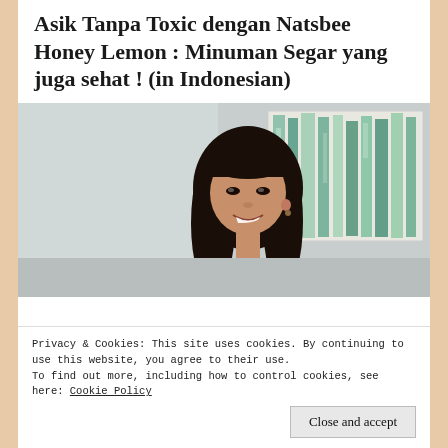Asik Tanpa Toxic dengan Natsbee Honey Lemon : Minuman Segar yang juga sehat ! (in Indonesian)
[Figure (photo): Young Asian woman with long black hair, smiling, photographed indoors in front of a blue-green abstract painting on the wall.]
Privacy & Cookies: This site uses cookies. By continuing to use this website, you agree to their use.
To find out more, including how to control cookies, see here: Cookie Policy
Close and accept